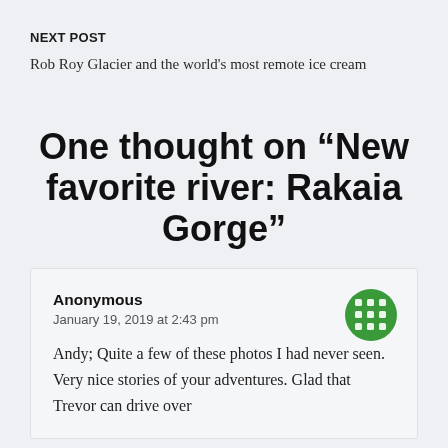NEXT POST
Rob Roy Glacier and the world's most remote ice cream
One thought on “New favorite river: Rakaia Gorge”
Anonymous
January 19, 2019 at 2:43 pm

Andy; Quite a few of these photos I had never seen. Very nice stories of your adventures. Glad that Trevor can drive over